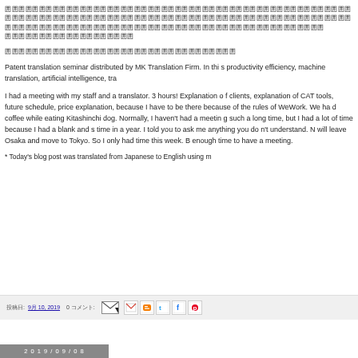（Japanese characters - patent translation seminar blog post introduction in Japanese）
（Japanese characters - second paragraph in Japanese）
Patent translation seminar distributed by MK Translation Firm. In this productivity efficiency, machine translation, artificial intelligence, tra...
I had a meeting with my staff and a translator. 3 hours! Explanation of clients, explanation of CAT tools, future schedule, price explanation, because I have to be there because of the rules of WeWork. We had coffee while eating Kitashinchi dog. Normally, I haven't had a meeting such a long time, but I had a lot of time because I had a blank and s time in a year. I told you to ask me anything you do n't understand. N will leave Osaka and move to Tokyo. So I only had time this week. B enough time to have a meeting.
* Today's blog post was translated from Japanese to English using m
投稿日: 9月 10, 2019   0 コメント:   [email icon] [share icons: Gmail, Blogger, Twitter, Facebook, Pinterest]
2019/09/08